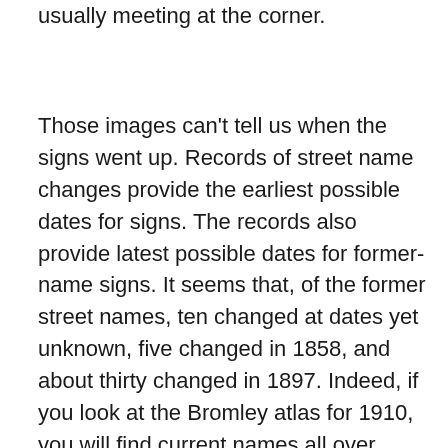usually meeting at the corner.
Those images can't tell us when the signs went up. Records of street name changes provide the earliest possible dates for signs. The records also provide latest possible dates for former-name signs. It seems that, of the former street names, ten changed at dates yet unknown, five changed in 1858, and about thirty changed in 1897. Indeed, if you look at the Bromley atlas for 1910, you will find current names all over town. A few names turn up in maps after being changed by the city (e. g., Hull for Elkhart in the 1910 Bromley). The still-ubiquitous white on blue wall signs turn up in photos starting about 1900. Everyday incised signage seemed to wane with the century, though many buildings before and since have